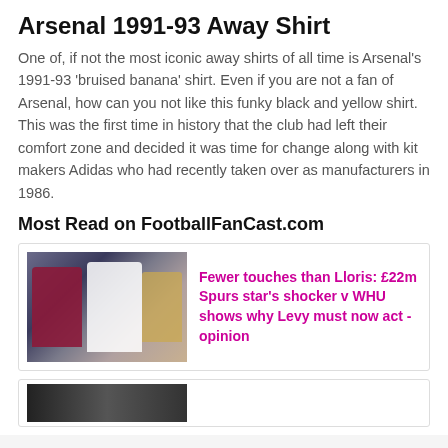Arsenal 1991-93 Away Shirt
One of, if not the most iconic away shirts of all time is Arsenal's 1991-93 ‘bruised banana’ shirt. Even if you are not a fan of Arsenal, how can you not like this funky black and yellow shirt. This was the first time in history that the club had left their comfort zone and decided it was time for change along with kit makers Adidas who had recently taken over as manufacturers in 1986.
Most Read on FootballFanCast.com
[Figure (photo): Two football players in action during a match, one in white Tottenham kit and one in claret West Ham kit]
Fewer touches than Lloris: £22m Spurs star's shocker v WHU shows why Levy must now act - opinion
[Figure (photo): Partially visible image of football players at the bottom of the page]